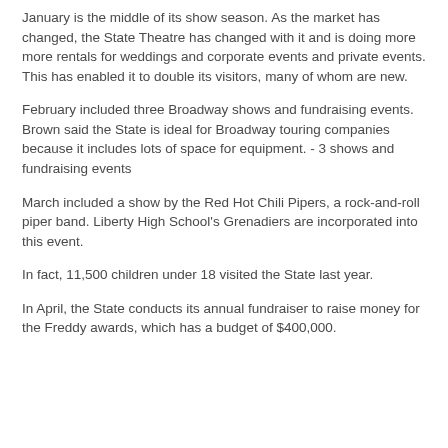January is the middle of its show season. As the market has changed, the State Theatre has changed with it and is doing more more rentals for weddings and corporate events and private events. This has enabled it to double its visitors, many of whom are new.
February included three Broadway shows and fundraising events. Brown said the State is ideal for Broadway touring companies because it includes lots of space for equipment. - 3 shows and fundraising events
March included a show by the Red Hot Chili Pipers, a rock-and-roll piper band. Liberty High School's Grenadiers are incorporated into this event.
In fact, 11,500 children under 18 visited the State last year.
In April, the State conducts its annual fundraiser to raise money for the Freddy awards, which has a budget of $400,000.